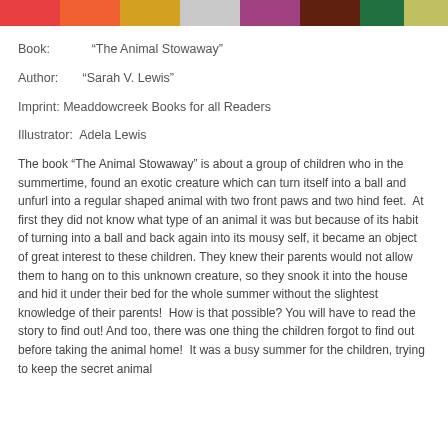[Figure (photo): Colorful strip of children's book images at the top of the page]
Book:          “The Animal Stowaway”
Author:        “Sarah V. Lewis”
Imprint: Meaddowcreek Books for all Readers
Illustrator:  Adela Lewis
The book “The Animal Stowaway” is about a group of children who in the summertime, found an exotic creature which can turn itself into a ball and unfurl into a regular shaped animal with two front paws and two hind feet.  At first they did not know what type of an animal it was but because of its habit of turning into a ball and back again into its mousy self, it became an object of great interest to these children. They knew their parents would not allow them to hang on to this unknown creature, so they snook it into the house and hid it under their bed for the whole summer without the slightest knowledge of their parents!  How is that possible? You will have to read the story to find out! And too, there was one thing the children forgot to find out before taking the animal home!  It was a busy summer for the children, trying to keep the secret animal